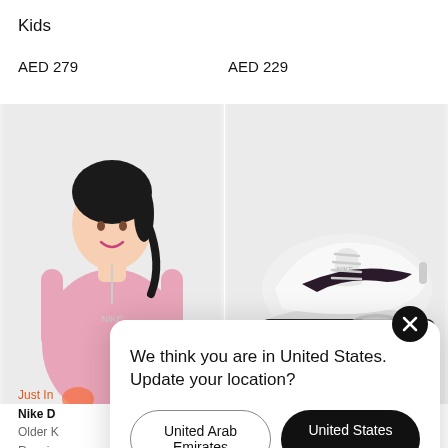Kids
AED 279
AED 229
[Figure (photo): Girl wearing a pink Nike half-zip running top]
[Figure (photo): White Nike Air Max sneaker with dark swoosh]
Just In
Nike D
Older K
Runnin
2 Colo
We think you are in United States. Update your location?
United Arab Emirates
United States